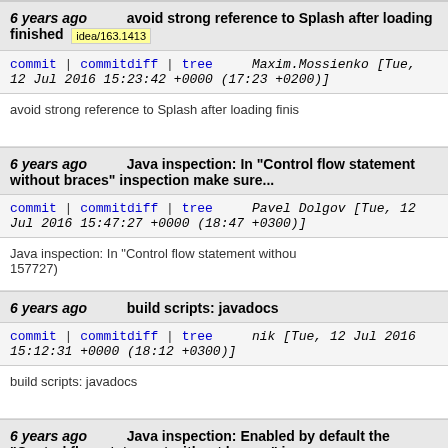6 years ago   avoid strong reference to Splash after loading finished   idea/163.1413
commit | commitdiff | tree   Maxim.Mossienko [Tue, 12 Jul 2016 15:23:42 +0000 (17:23 +0200)]
avoid strong reference to Splash after loading finis
6 years ago   Java inspection: In "Control flow statement without braces" inspection make sure...
commit | commitdiff | tree   Pavel Dolgov [Tue, 12 Jul 2016 15:47:27 +0000 (18:47 +0300)]
Java inspection: In "Control flow statement withou 157727)
6 years ago   build scripts: javadocs
commit | commitdiff | tree   nik [Tue, 12 Jul 2016 15:12:31 +0000 (18:12 +0300)]
build scripts: javadocs
6 years ago   Java inspection: Enabled by default the "Control flow statement without braces" inspe...   appcode/163.1409